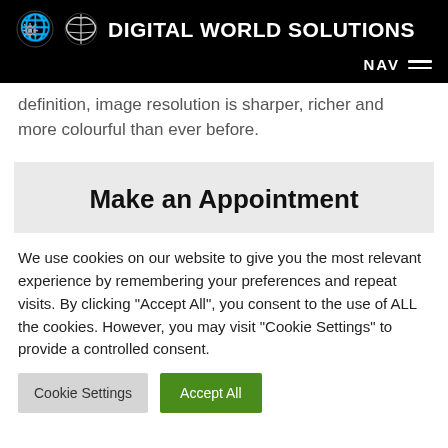DIGITAL WORLD SOLUTIONS
definition, image resolution is sharper, richer and more colourful than ever before.
Make an Appointment
We use cookies on our website to give you the most relevant experience by remembering your preferences and repeat visits. By clicking "Accept All", you consent to the use of ALL the cookies. However, you may visit "Cookie Settings" to provide a controlled consent.
Cookie Settings | Accept All